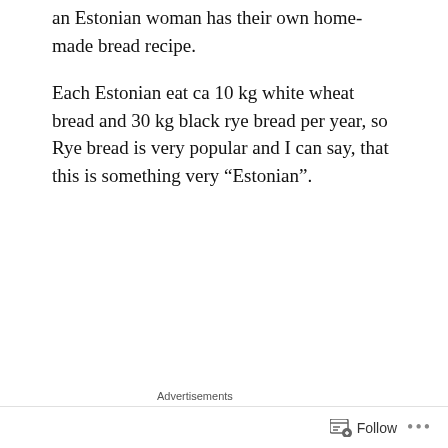an Estonian woman has their own home-made bread recipe.
Each Estonian eat ca 10 kg white wheat bread and 30 kg black rye bread per year, so Rye bread is very popular and I can say, that this is something very “Estonian”.
[Figure (screenshot): Advertisement banner for P2 project management tool. Shows P2 logo (black square with white grid icon and 'P2' text), headline 'Getting your team on the same page is easy. And free.', and three circular avatar photos plus a blue circle with a plus sign.]
Follow ...